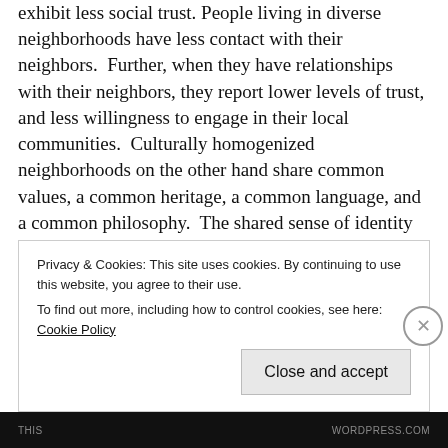exhibit less social trust. People living in diverse neighborhoods have less contact with their neighbors. Further, when they have relationships with their neighbors, they report lower levels of trust, and less willingness to engage in their local communities. Culturally homogenized neighborhoods on the other hand share common values, a common heritage, a common language, and a common philosophy. The shared sense of identity translates into a more socially engaged group with a higher level of trust. Diversity on its own is not a good to be desired. The assimilation model during 19th century America proved much more sustainable, where other cultures
Privacy & Cookies: This site uses cookies. By continuing to use this website, you agree to their use.
To find out more, including how to control cookies, see here: Cookie Policy
Close and accept
THIS          WORDPRESS.COM